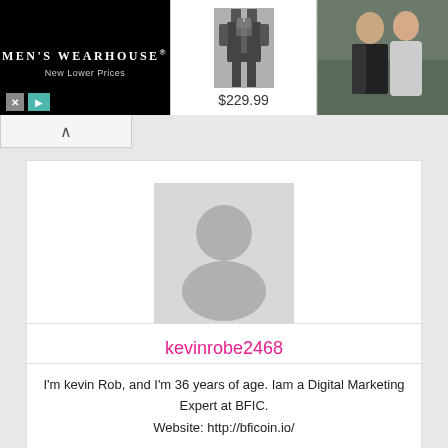[Figure (photo): Men's Wearhouse advertisement banner showing a suit for $229.99 and a couple in formalwear, with brand name and tagline 'New Lower Prices']
kevinrobe2468
I'm kevin Rob, and I'm 36 years of age. Iam a Digital Marketing Expert at BFIC.
Website: http://bficoin.io/